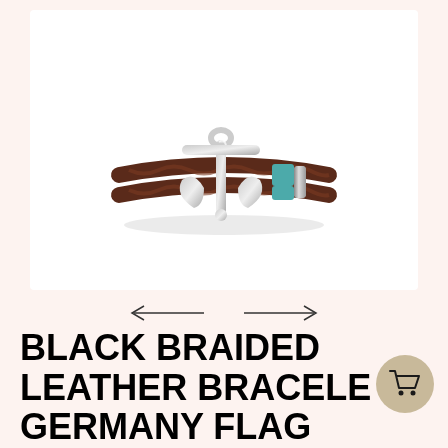[Figure (photo): A dark brown braided leather bracelet with a silver anchor clasp and a teal/turquoise accent bead, photographed on a white background.]
BLACK BRAIDED LEATHER BRACELET GERMANY FLAG